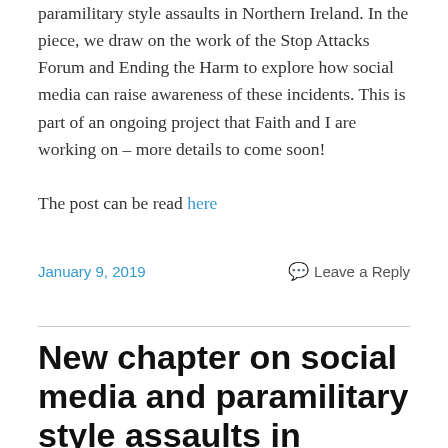paramilitary style assaults in Northern Ireland. In the piece, we draw on the work of the Stop Attacks Forum and Ending the Harm to explore how social media can raise awareness of these incidents. This is part of an ongoing project that Faith and I are working on – more details to come soon!
The post can be read here
January 9, 2019   Leave a Reply
New chapter on social media and paramilitary style assaults in Northern Ireland published with Faith Gordon